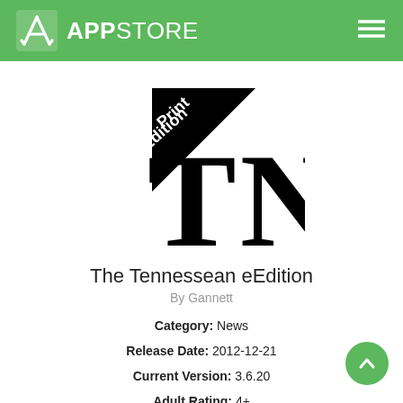APPSTORE
[Figure (logo): The Tennessean eEdition app logo — black TN letters with a triangular 'Print Edition' badge in the upper left corner]
The Tennessean eEdition
By Gannett
Category: News
Release Date: 2012-12-21
Current Version: 3.6.20
Adult Rating: 4+